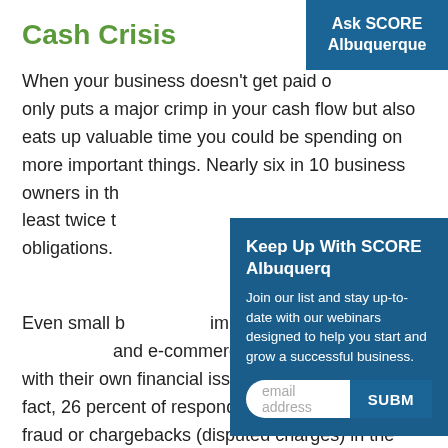Cash Crisis
When your business doesn't get paid on time, it not only puts a major crimp in your cash flow but also eats up valuable time you could be spending on more important things. Nearly six in 10 business owners in the survey said they chase payments at least twice the time to meet their financial obligations.
[Figure (other): Modal overlay with header 'Keep Up With SCORE Albuquerque', text 'Join our list and stay up-to-date with our webinars designed to help you start and grow a successful business.', an email address input field and a SUBMIT button]
Even small businesses, struggle with their own and e-commerce businesses, struggle with their own financial issues during year-end. In fact, 26 percent of respondents lost money to fraud or chargebacks (disputed charges) in the last 12 months; 22 percent